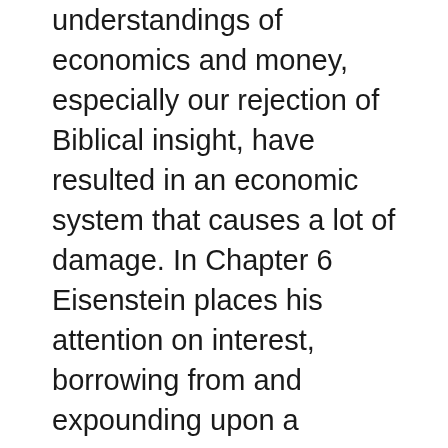understandings of economics and money, especially our rejection of Biblical insight, have resulted in an economic system that causes a lot of damage. In Chapter 6 Eisenstein places his attention on interest, borrowing from and expounding upon a parable created by the Belgian economist Bernard Lietaer.
You may be aware that the world’s money supply is constantly increasing, but you may not know how it’s created. In our banking system, new money is moved from the Central Bank to the commercial banks to the people via loans at interest. You ask the bank for a loan, it provides you that loan via money that